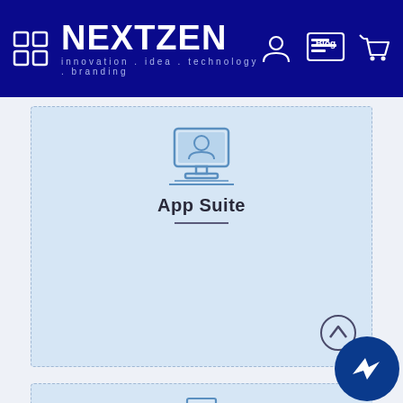NEXTZEN - innovation . idea . technology . branding
[Figure (illustration): App Suite service card with person-at-desk icon, title 'App Suite', and horizontal underline separator]
[Figure (illustration): Print Design service card with printer/document icon and title 'Print Design']
[Figure (illustration): Messenger chat floating button (dark blue circle with lightning messenger icon)]